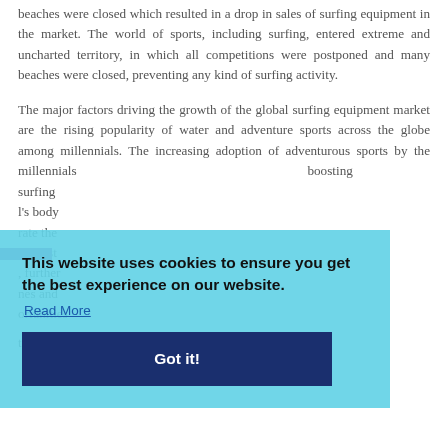beaches were closed which resulted in a drop in sales of surfing equipment in the market. The world of sports, including surfing, entered extreme and uncharted territory, in which all competitions were postponed and many beaches were closed, preventing any kind of surfing activity.
The major factors driving the growth of the global surfing equipment market are the rising popularity of water and adventure sports across the globe among millennials. The increasing adoption of adventurous sports by the millennials boosting surfing l's body rate the interest further nes and ortunities to the market players in the forecast period.
[Figure (screenshot): Cookie consent popup overlay with light blue background. Text reads: 'This website uses cookies to ensure you get the best experience on our website.' with a 'Read More' link and a dark navy blue 'Got it!' button.]